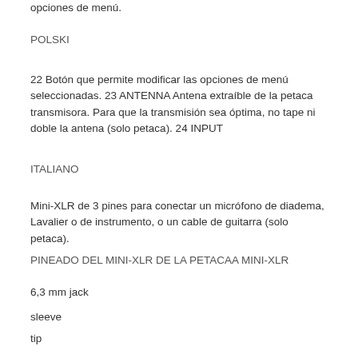opciones de menú.
POLSKI
22 Botón que permite modificar las opciones de menú seleccionadas. 23 ANTENNA Antena extraíble de la petaca transmisora. Para que la transmisión sea óptima, no tape ni doble la antena (solo petaca). 24 INPUT
ITALIANO
Mini-XLR de 3 pines para conectar un micrófono de diadema, Lavalier o de instrumento, o un cable de guitarra (solo petaca).
PINEADO DEL MINI-XLR DE LA PETACAA MINI-XLR
6,3 mm jack
sleeve
tip
2 3
1